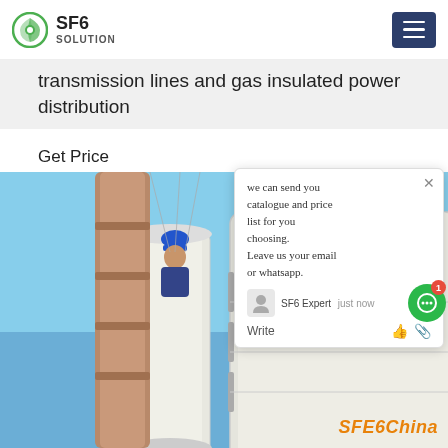SF6 SOLUTION
transmission lines and gas insulated power distribution
Get Price
[Figure (photo): Worker on top of large white industrial gas insulated power equipment with high-voltage transmission tower in the background against a blue sky. SFE6China watermark visible at bottom right.]
we can send you catalogue and price list for you choosing. Leave us your email or whatsapp. SF6 Expert  just now  Write